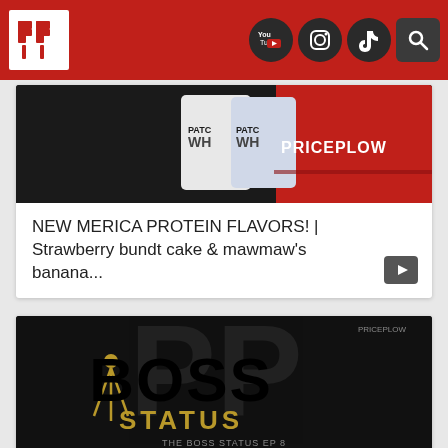PricePlow header with logo and social icons (YouTube, Instagram, TikTok, Search)
[Figure (screenshot): Product image showing Merica protein containers with red and white branding and PRICEPLOW text overlay]
NEW MERICA PROTEIN FLAVORS! | Strawberry bundt cake & mawmaw's banana...
[Figure (screenshot): Boss Status podcast logo with crown graphic on black background, text reads BOSS STATUS and THE BOSS STATUS EP 8]
PricePlow Joins The Boss Status (Ep 8) at CORE Nutritionals HQ